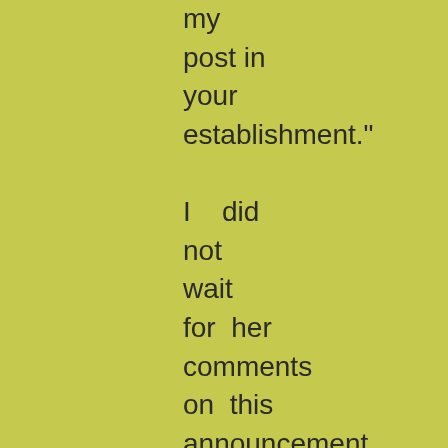my post in your establishment." I did not wait for her comments on this announcement, but bowed and immediately withdrew. That